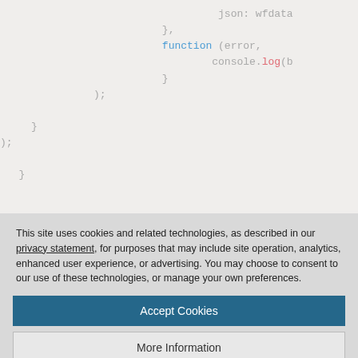[Figure (screenshot): Code snippet showing JavaScript with syntax highlighting. Lines include: 'json: wfdata', '};', 'function (error,', 'console.log(b', '}', ');', '}', ');', then partial line with '}'.]
This site uses cookies and related technologies, as described in our privacy statement, for purposes that may include site operation, analytics, enhanced user experience, or advertising. You may choose to consent to our use of these technologies, or manage your own preferences.
Accept Cookies
More Information
Privacy Policy | Powered by: TrustArc
[Figure (screenshot): Bottom code strip on dark background: console.log('Server listening on port %d', port);]